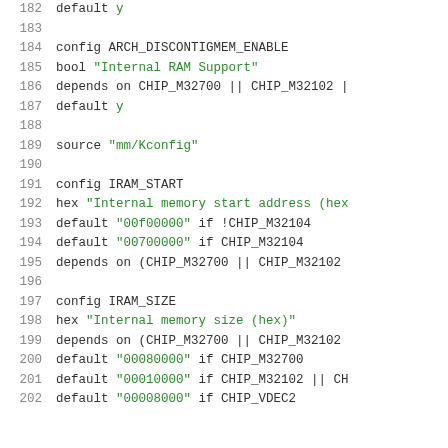182    default y
183
184    config ARCH_DISCONTIGMEM_ENABLE
185            bool "Internal RAM Support"
186            depends on CHIP_M32700 || CHIP_M32102 |
187            default y
188
189    source "mm/Kconfig"
190
191    config IRAM_START
192            hex "Internal memory start address (hex
193            default "00f00000" if !CHIP_M32104
194            default "00700000" if CHIP_M32104
195            depends on (CHIP_M32700 || CHIP_M32102
196
197    config IRAM_SIZE
198            hex "Internal memory size (hex)"
199            depends on (CHIP_M32700 || CHIP_M32102
200            default "00080000" if CHIP_M32700
201            default "00010000" if CHIP_M32102 || CH
202            default "00008000" if CHIP_VDEC2